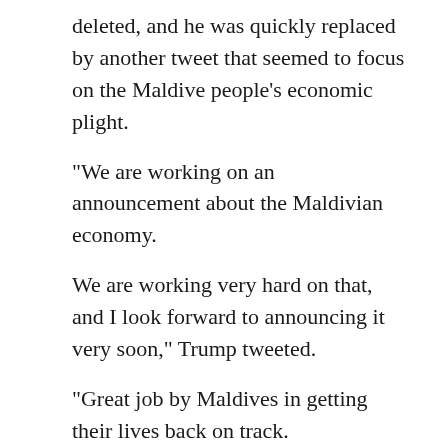deleted, and he was quickly replaced by another tweet that seemed to focus on the Maldive people's economic plight.
“We are working on an announcement about the Maldivian economy.
We are working very hard on that, and I look forward to announcing it very soon,” Trump tweeted.
“Great job by Maldives in getting their lives back on track.
I am sending you all a message today that the U.N. will be very happy.
We will be putting out very strong signals about